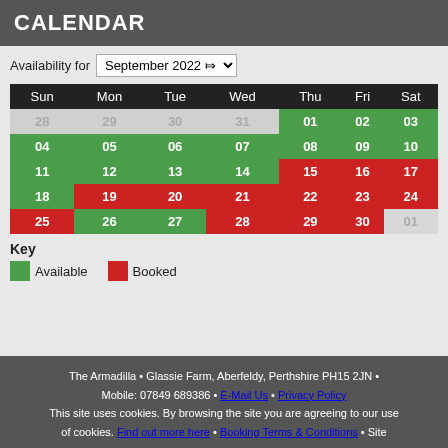CALENDAR
Availability for September 2022
| Sun | Mon | Tue | Wed | Thu | Fri | Sat |
| --- | --- | --- | --- | --- | --- | --- |
| 28 | 29 | 30 | 31 | 01 | 02 | 03 |
| 04 | 05 | 06 | 07 | 08 | 09 | 10 |
| 11 | 12 | 13 | 14 | 15 | 16 | 17 |
| 18 | 19 | 20 | 21 | 22 | 23 | 24 |
| 25 | 26 | 27 | 28 | 29 | 30 | 01 |
Key
Available
Booked
The Armadilla • Glassie Farm, Aberfeldy, Perthshire PH15 2JN • Mobile: 07849 689386 • E-Mail Us • Privacy Policy This site uses cookies. By browsing the site you are agreeing to our use of cookies. Find out more here • Booking Terms & Conditions • Site